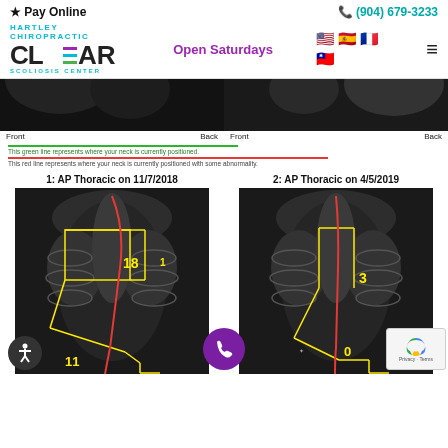Pay Online   (904) 679-3233
[Figure (logo): Hartley Chiropractic CLEAR Scoliosis Center logo with teal text]
Open Saturdays
[Figure (illustration): US, Spanish, French, and Taiwanese flags]
[Figure (photo): Two partial X-ray images of neck/spine region with Front and Back labels]
This green line represents where your neck is currently positioned.
This red line represents where your neck is currently positioned with some abnormality.
1: AP Thoracic on 11/7/2018
[Figure (photo): AP Thoracic X-ray dated 11/7/2018 with yellow measurement lines, red curve overlay, and numbers 18, 11, 1]
2: AP Thoracic on 4/5/2019
[Figure (photo): AP Thoracic X-ray dated 4/5/2019 with yellow measurement lines, red curve overlay, and numbers 3, 0]